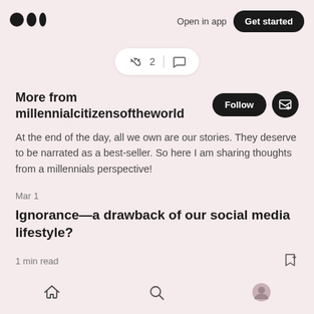Medium logo | Open in app | Get started
[Figure (screenshot): Clap and comment action pill showing clap icon with count 2 and a comment icon]
More from millennialcitizensoftheworld
At the end of the day, all we own are our stories. They deserve to be narrated as a best-seller. So here I am sharing thoughts from a millennials perspective!
Mar 1
Ignorance—a drawback of our social media lifestyle?
1 min read
Home | Search | Profile